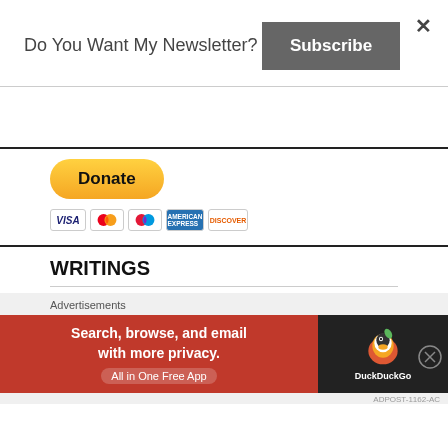Do You Want My Newsletter?
Subscribe
[Figure (illustration): PayPal Donate button with payment card icons (Visa, Mastercard, Discover, American Express)]
WRITINGS
Advertisements
[Figure (screenshot): DuckDuckGo advertisement banner: Search, browse, and email with more privacy. All in One Free App. DuckDuckGo logo on dark background.]